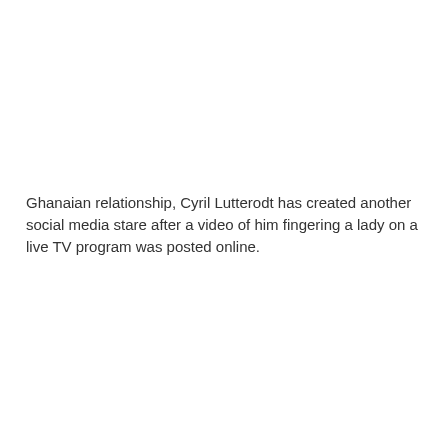Ghanaian relationship, Cyril Lutterodt has created another social media stare after a video of him fingering a lady on a live TV program was posted online.